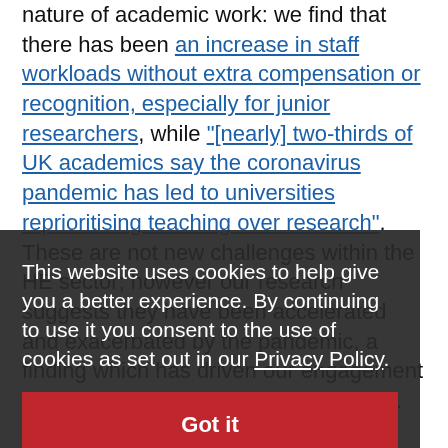nature of academic work: we find that there has been an increase in staff workloads without extra compensation or recognition, especially for junior researchers, while "[nearly] two-thirds of UK academics say the coronavirus pandemic has led to universities reprioritising teaching over research". These are not new challenges within the HE sector; however our research suggests they have been accelerated and exacerbated by the pandemic, a finding which has driven our engagement with the trade unions UCU and Unison.
In the UK, findings from our work have been shared with the UK Parliament in the form of a Post Note on distance learning. This Post Note identifies academic staff concerns about the sector's preparedness for increasing digitalisation, along with worries about student digital exclusion. Findings about changes to the HE sector as a whole, the fragility of the HE labour market, and both
This website uses cookies to help give you a better experience. By continuing to use it you consent to the use of cookies as set out in our Privacy Policy.
Got it